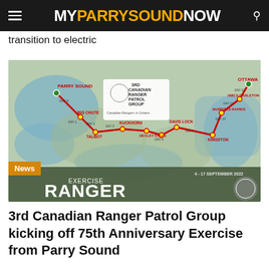MYPARRYSOUNDNOW
transition to electric
[Figure (map): Map showing the route of Exercise Ranger Tracker from Parry Sound to Ottawa, 4-17 September 2022, organized by the 3rd Canadian Ranger Patrol Group. Route passes through Big Chute, Talbot, Kuckhorn, Healey Falls, Davis Lock, Burritts Rapids, HMCS Carleton, and Kingston.]
News
3rd Canadian Ranger Patrol Group kicking off 75th Anniversary Exercise from Parry Sound